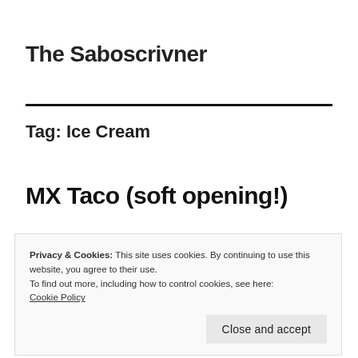The Saboscrivner
Tag: Ice Cream
MX Taco (soft opening!)
Privacy & Cookies: This site uses cookies. By continuing to use this website, you agree to their use.
To find out more, including how to control cookies, see here: Cookie Policy
Close and accept